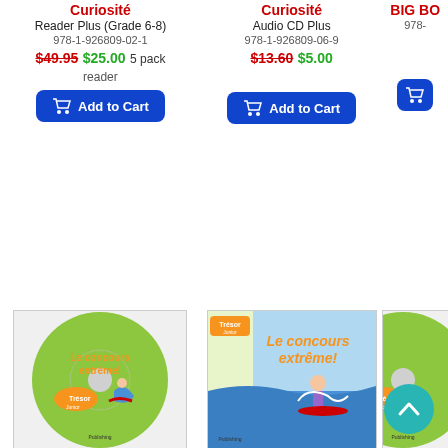Curiosité
Reader Plus (Grade 6-8)
978-1-926809-02-1
$49.95  $25.00 5 pack
reader
[Figure (other): Add to Cart button - blue rounded rectangle with shopping cart icon]
Curiosité
Audio CD Plus
978-1-926809-06-9
$13.60  $5.00
[Figure (other): Add to Cart button - blue rounded rectangle with shopping cart icon]
BIG BO...
978-...
[Figure (other): Add to Cart button - blue rounded rectangle with shopping cart icon (partially visible)]
[Figure (photo): Le concours extreme Audio CD product image - green disc with surfing illustration]
Le concours extreme
Audio CD (Grades 6-8)
978-1-926809-05-2
$13.60
[Figure (other): Add to Cart button for Le concours extreme Audio CD]
[Figure (photo): Le concours extreme BIG BOOK product image - book cover with surfing illustration]
Le concours extreme
BIG BOOK (Grades 6-8)
978-1-926809-10-6
$88.95
[Figure (other): Add to Cart button for Le concours extreme BIG BOOK]
[Figure (photo): Le co... Projecta... product image partially visible - green disc]
Le co...
Projecta...
978-...
[Figure (other): Scroll-to-top button - teal circle with upward arrow]